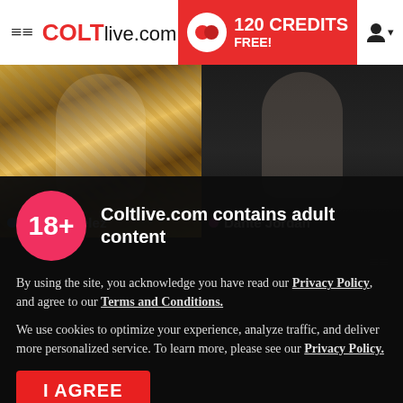COLTlive.com | 120 CREDITS FREE!
[Figure (screenshot): Two live stream thumbnails side by side: left shows Hazzan Velez, right shows Dante Jordan]
Hazzan Velez
Dante Jordan
Coltlive.com contains adult content
By using the site, you acknowledge you have read our Privacy Policy, and agree to our Terms and Conditions.
We use cookies to optimize your experience, analyze traffic, and deliver more personalized service. To learn more, please see our Privacy Policy.
I AGREE